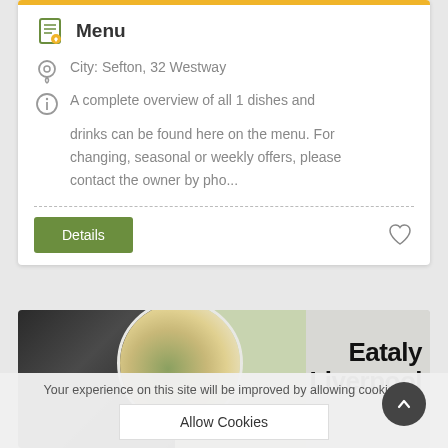Menu
City: Sefton, 32 Westway
A complete overview of all 1 dishes and drinks can be found here on the menu. For changing, seasonal or weekly offers, please contact the owner by pho...
Details
[Figure (photo): Food photo showing a plate with risotto-like dish, dark stone background, and Eataly Liverpool text overlay]
Your experience on this site will be improved by allowing cookies.
Allow Cookies